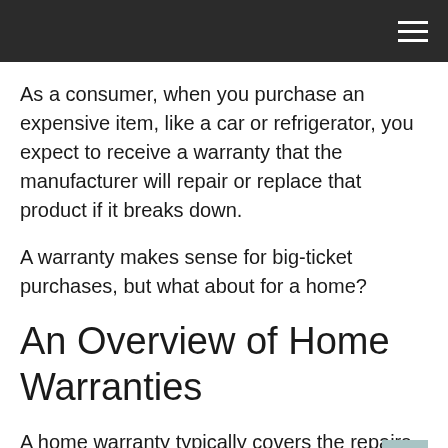As a consumer, when you purchase an expensive item, like a car or refrigerator, you expect to receive a warranty that the manufacturer will repair or replace that product if it breaks down.
A warranty makes sense for big-ticket purchases, but what about for a home?
An Overview of Home Warranties
A home warranty typically covers the repairs on specific items in a home, such as heating